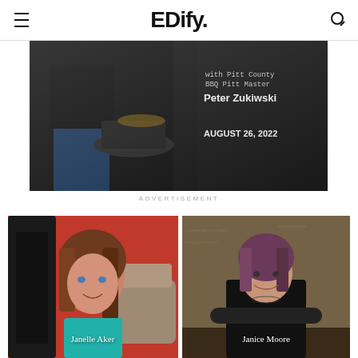EDify.
[Figure (photo): Dark BBQ event advertisement with person at smoker, text 'with Pitt County BBQ Pitt Master Peter Zukiwski, AUGUST 26, 2022']
ADVERTISEMENT
[Figure (photo): Portrait photo of Janelle Aker, woman with auburn hair and teal top against red background]
[Figure (photo): Portrait photo of Janice Moore, woman with dark hair in black outfit with arms crossed against chalkboard-style background]